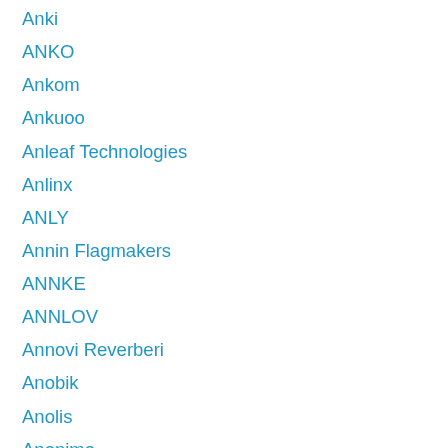Anki
ANKO
Ankom
Ankuoo
Anleaf Technologies
Anlinx
ANLY
Annin Flagmakers
ANNKE
ANNLOV
Annovi Reverberi
Anobik
Anolis
Anonimo
Anonymous